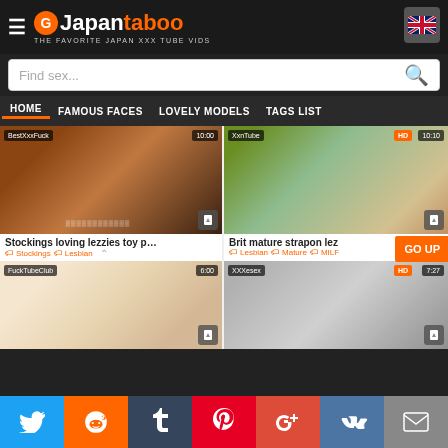JapanTaboo — THE FAVORITE JAPAN XXX TUBE VIDS
Find sex...
HOME | FAMOUS FACES | LOVELY MODELS | TAGS LIST
[Figure (screenshot): Video thumbnail: Stockings loving lezzies toy p... — BestXxxFuck, 10:00]
Stockings loving lezzies toy p...
Stockings | Lesbian
[Figure (screenshot): Video thumbnail: Brit mature strapon lez — XxnTube, HD, 10:10]
Brit mature strapon lez
Lesbian | Mature | MILF
[Figure (screenshot): Video thumbnail — FuckTubeClub, 6:00]
[Figure (screenshot): Video thumbnail — XXXesex, HD, 7:27]
Twitter | Reddit | Tumblr | Pinterest | G+ | VK | Email